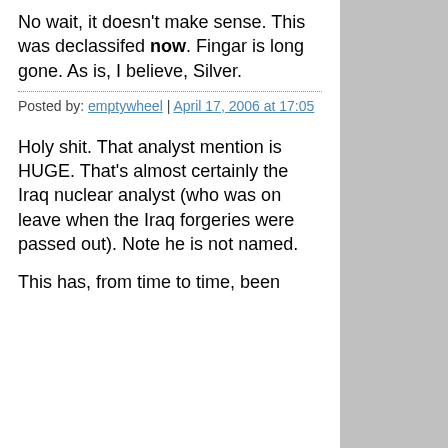No wait, it doesn't make sense. This was declassifed now. Fingar is long gone. As is, I believe, Silver.
Posted by: emptywheel | April 17, 2006 at 17:05
Holy shit. That analyst mention is HUGE. That's almost certainly the Iraq nuclear analyst (who was on leave when the Iraq forgeries were passed out). Note he is not named.
This has, from time to time, been